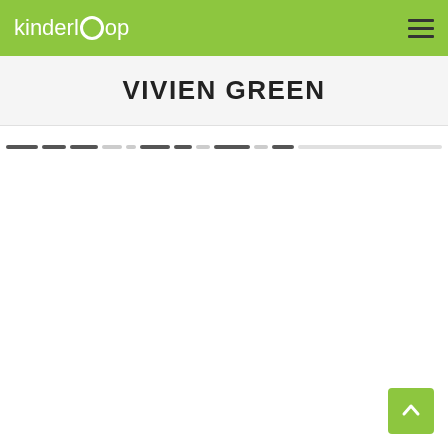kinderloop
VIVIEN GREEN
[Figure (screenshot): Navigation tab bar with multiple dark and light segment pills representing filter/category tabs]